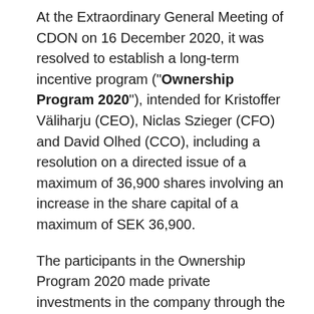At the Extraordinary General Meeting of CDON on 16 December 2020, it was resolved to establish a long-term incentive program ("Ownership Program 2020"), intended for Kristoffer Väliharju (CEO), Niclas Szieger (CFO) and David Olhed (CCO), including a resolution on a directed issue of a maximum of 36,900 shares involving an increase in the share capital of a maximum of SEK 36,900.
The participants in the Ownership Program 2020 made private investments in the company through the acquisition of shares in CDON ("Investment Shares"). The Investment Shares could either consist of shares in CDON that the participant already owned or that the participant acquired on the